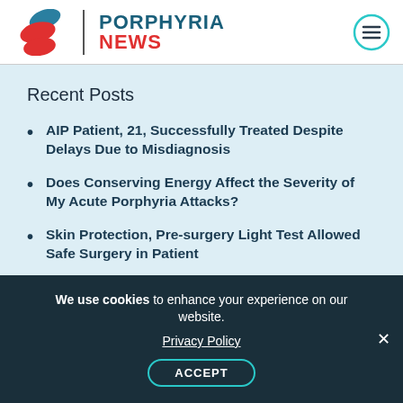[Figure (logo): Porphyria News logo with red pill/capsule icons, vertical divider, and teal/red text reading PORPHYRIA NEWS]
Recent Posts
AIP Patient, 21, Successfully Treated Despite Delays Due to Misdiagnosis
Does Conserving Energy Affect the Severity of My Acute Porphyria Attacks?
Skin Protection, Pre-surgery Light Test Allowed Safe Surgery in Patient
Rare Disease Groups Win Horizon's #RAREis Global Advocate Grants
We use cookies to enhance your experience on our website.
Privacy Policy
ACCEPT